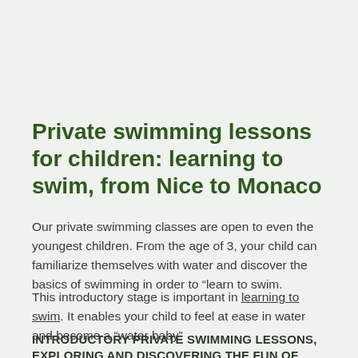Private swimming lessons for children: learning to swim, from Nice to Monaco
Our private swimming classes are open to even the youngest children. From the age of 3, your child can familiarize themselves with water and discover the basics of swimming in order to “learn to swim.
This introductory stage is important in learning to swim. It enables your child to feel at ease in water and become a “water baby”
INTRODUCTORY PRIVATE SWIMMING LESSONS, EXPLORING AND DISCOVERING THE FUN OF